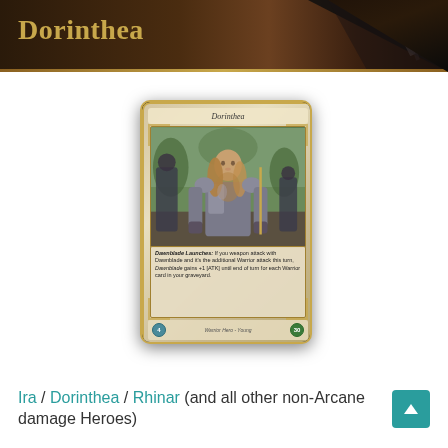Dorinthea
[Figure (illustration): Dorinthea trading card from Flesh and Blood card game. The card shows a young female warrior in armor with long flowing hair, flanked by other figures. Card name is 'Dorinthea', type 'Warrior Hero - Young', cost 4, defense 30. Contains ability text describing her Dawnblade attack effect.]
Ira / Dorinthea / Rhinar (and all other non-Arcane damage Heroes)